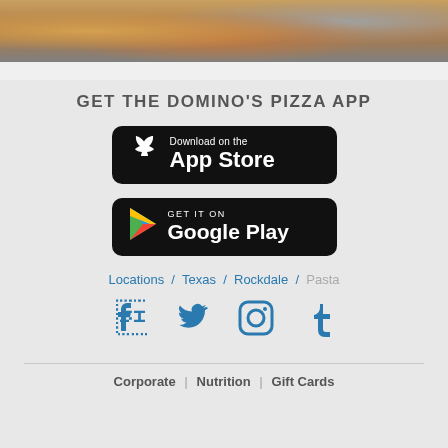[Figure (photo): Food photo strip showing pasta/pizza dishes at the top of the page]
GET THE DOMINO'S PIZZA APP
[Figure (other): App Store download button - black rounded rectangle with Apple logo and text 'Download on the App Store']
[Figure (other): Google Play download button - black rounded rectangle with Google Play triangle logo and text 'GET IT ON Google Play']
Locations / Texas / Rockdale / Pasta
[Figure (other): Social media icons row: Facebook, Twitter, Instagram, Tumblr]
Corporate | Nutrition | Gift Cards